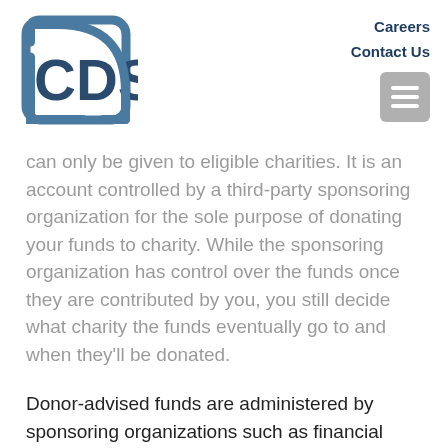[Figure (logo): CDS logo — square bracket shape with 'CDS' text in dark navy/steel blue]
Careers
Contact Us
can only be given to eligible charities. It is an account controlled by a third-party sponsoring organization for the sole purpose of donating your funds to charity. While the sponsoring organization has control over the funds once they are contributed by you, you still decide what charity the funds eventually go to and when they'll be donated.
Donor-advised funds are administered by sponsoring organizations such as financial service companies, community organizations